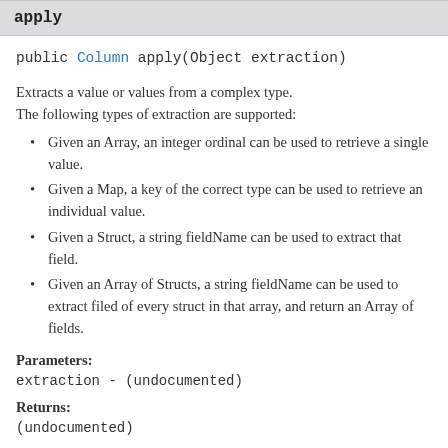apply
public Column apply(Object extraction)
Extracts a value or values from a complex type. The following types of extraction are supported:
Given an Array, an integer ordinal can be used to retrieve a single value.
Given a Map, a key of the correct type can be used to retrieve an individual value.
Given a Struct, a string fieldName can be used to extract that field.
Given an Array of Structs, a string fieldName can be used to extract filed of every struct in that array, and return an Array of fields.
Parameters:
extraction - (undocumented)
Returns:
(undocumented)